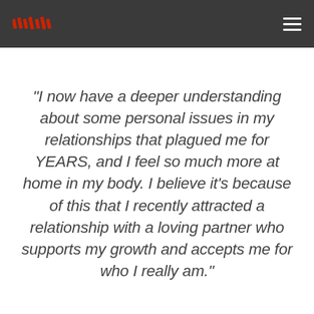[Logo] [Navigation menu]
"I now have a deeper understanding about some personal issues in my relationships that plagued me for YEARS, and I feel so much more at home in my body. I believe it's because of this that I recently attracted a relationship with a loving partner who supports my growth and accepts me for who I really am."